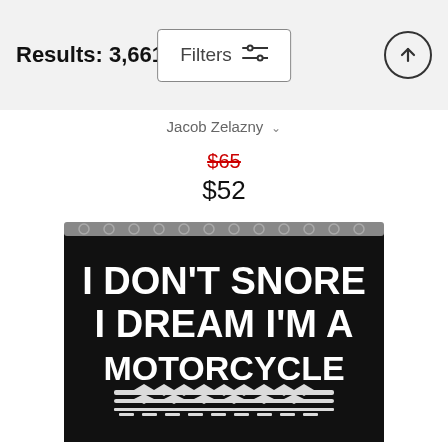Results: 3,661
Filters
Jacob Zelazny
$65
$52
[Figure (photo): Black shower curtain or blanket with white bold text reading 'I DON'T SNORE I DREAM I'M A MOTORCYCLE' with a motorcycle tyre tread graphic below the text.]